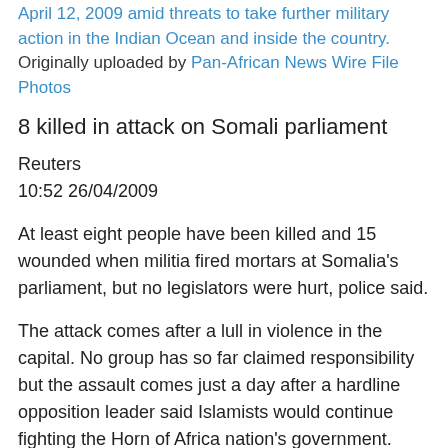April 12, 2009 amid threats to take further military action in the Indian Ocean and inside the country.
Originally uploaded by Pan-African News Wire File Photos
8 killed in attack on Somali parliament
Reuters
10:52 26/04/2009
At least eight people have been killed and 15 wounded when militia fired mortars at Somalia's parliament, but no legislators were hurt, police said.
The attack comes after a lull in violence in the capital. No group has so far claimed responsibility but the assault comes just a day after a hardline opposition leader said Islamists would continue fighting the Horn of Africa nation's government.
"The mortar attack happened today when a parliamentary session ended. There are no MP casualties but eight other people died when several mortars hit villages near the